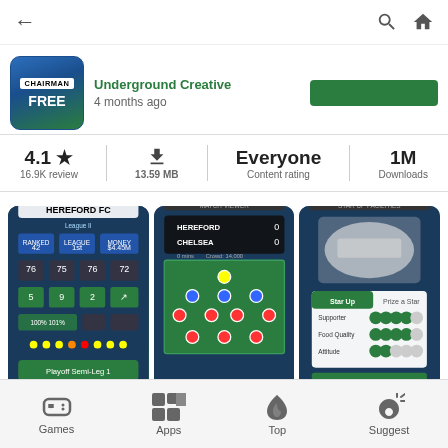← [back] [search] [home]
Underground Creative
4 months ago
4.1 ★
16.9K review
13.59 MB
Everyone
Content rating
1M
Downloads
[Figure (screenshot): Three app screenshots: Football Chairman game screens showing club management, match view, and stadium facilities]
FREE VERSION OF THE AWARD-WINNING CHAIRMAN GAME
STEER YOUR CLUB FROM NON-LEAGUE TO THE VERY TOP
BUILD YOUR STADIUM AND FACILITIES, KEEP FANS HAPPY
Games   Apps   Top   Suggest